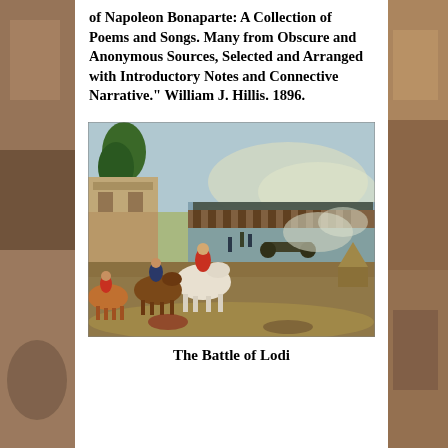of Napoleon Bonaparte: A Collection of Poems and Songs. Many from Obscure and Anonymous Sources, Selected and Arranged with Introductory Notes and Connective Narrative." William J. Hillis. 1896.
[Figure (photo): A painting depicting the Battle of Lodi. The scene shows cavalry and soldiers charging near a wooden bridge over a river, with cannon fire and smoke in the background. Trees and a building are visible on the left; wounded soldiers lie in the foreground.]
The Battle of Lodi